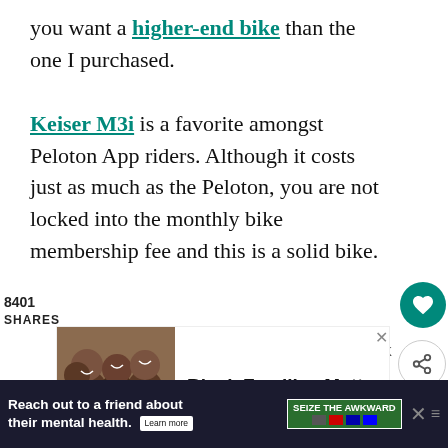you want a higher-end bike than the one I purchased.

Keiser M3i is a favorite amongst Peloton App riders. Although it costs just as much as the Peloton, you are not locked into the monthly bike membership fee and this is a solid bike.
8401
SHARES
[Figure (screenshot): Advertisement for Black Families Matter with photo of smiling family]
[Figure (screenshot): What's Next widget: Best Spin Bikes to Use...]
[Figure (screenshot): Bottom advertisement: Reach out to a friend about their mental health. Learn more. SEIZE THE AWKWARD banner.]